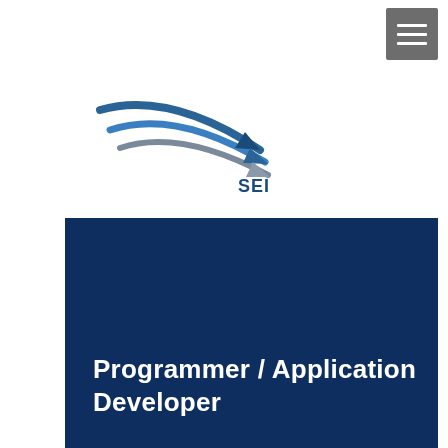[Figure (logo): SEI company logo with stylized blue and gray swoosh lines and the text 'SEI']
Programmer / Application Developer